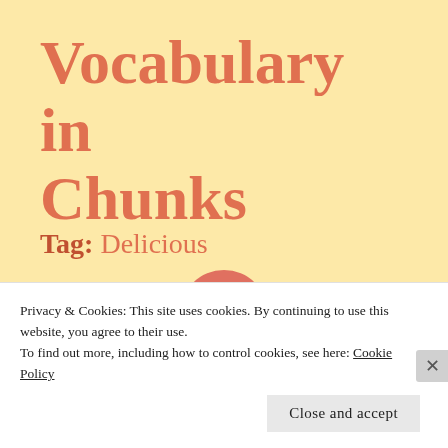Vocabulary in Chunks
Tag: Delicious
[Figure (illustration): A salmon/coral colored circle with a document/file icon in the center, positioned at the boundary between the yellow background and white background sections]
Yuml
Privacy & Cookies: This site uses cookies. By continuing to use this website, you agree to their use.
To find out more, including how to control cookies, see here: Cookie Policy
Close and accept